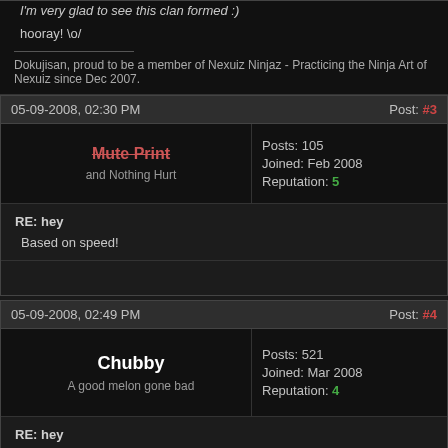I'm very glad to see this clan formed :)
hooray! \o/
Dokujisan, proud to be a member of Nexuiz Ninjaz - Practicing the Ninja Art of Nexuiz since Dec 2007.
05-09-2008, 02:30 PM
Post: #3
Mute Print
and Nothing Hurt
Posts: 105
Joined: Feb 2008
Reputation: 5
RE: hey
Based on speed!
05-09-2008, 02:49 PM
Post: #4
Chubby
A good melon gone bad
Posts: 521
Joined: Mar 2008
Reputation: 4
RE: hey
Original idea. Something new instead of CTF clan, TDM clan or I even